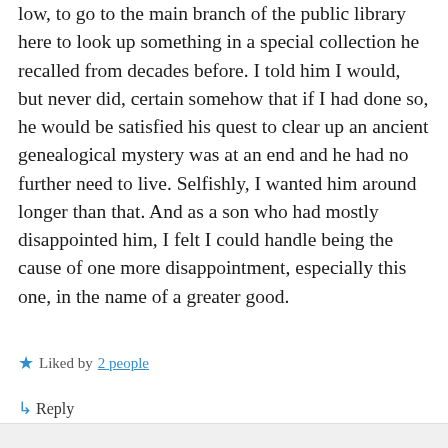low, to go to the main branch of the public library here to look up something in a special collection he recalled from decades before. I told him I would, but never did, certain somehow that if I had done so, he would be satisfied his quest to clear up an ancient genealogical mystery was at an end and he had no further need to live. Selfishly, I wanted him around longer than that. And as a son who had mostly disappointed him, I felt I could handle being the cause of one more disappointment, especially this one, in the name of a greater good.
★ Liked by 2 people
↳ Reply